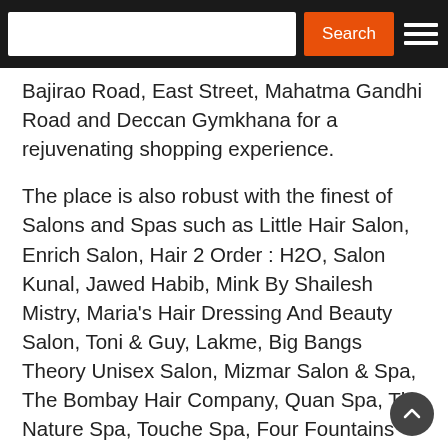Search
Bajirao Road, East Street, Mahatma Gandhi Road and Deccan Gymkhana for a rejuvenating shopping experience.
The place is also robust with the finest of Salons and Spas such as Little Hair Salon, Enrich Salon, Hair 2 Order : H2O, Salon Kunal, Jawed Habib, Mink By Shailesh Mistry, Maria's Hair Dressing And Beauty Salon, Toni & Guy, Lakme, Big Bangs Theory Unisex Salon, Mizmar Salon & Spa, The Bombay Hair Company, Quan Spa, The Nature Spa, Touche Spa, Four Fountains De-Stress Spa, Ora Regenesis SPA, Sukho Thai Spa and more.
You can enjoy some delicious multicuisine food in Pune with restaurants like Paasha, Café Blu, Alto Vino, Shakahari. The Market, MoMo Café, Spice Kitchen, Sorriso, Baan Tao, Mi-A-Mi, Le Plaisir, Sante Spa Cuisine, Mix@36, Ukiyo, The Place – Touche The Sizzler and many others.